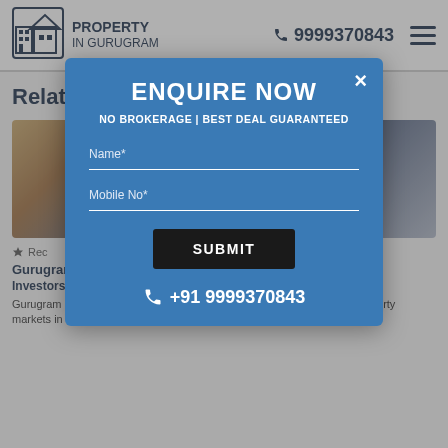PROPERTY IN GURUGRAM | 9999370843
Relat
[Figure (photo): Property card with two building images side by side]
Rec
Gurugram
Investors and End-Users
Gurugram has grown into a vibrant real estate hotspot over the years. Property markets in the city have been buoyed...
ENQUIRE NOW
NO BROKERAGE | BEST DEAL GUARANTEED
Name*
Mobile No*
SUBMIT
+91 9999370843